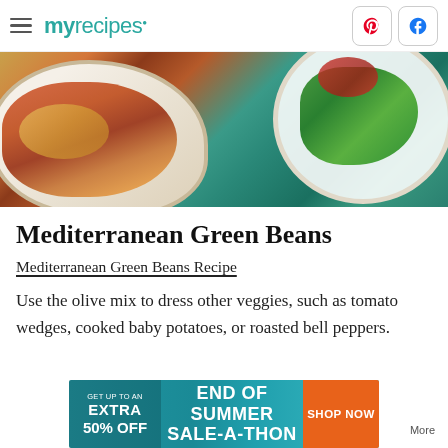my recipes
[Figure (photo): Food photo showing a dish with roasted tomatoes and potatoes in a white ceramic baking dish on a teal wooden surface, with a bowl of greens partially visible]
Mediterranean Green Beans
Mediterranean Green Beans Recipe
Use the olive mix to dress other veggies, such as tomato wedges, cooked baby potatoes, or roasted bell peppers.
[Figure (infographic): Advertisement banner: GET UP TO AN EXTRA 50% OFF — END OF SUMMER SALE-A-THON — SHOP NOW]